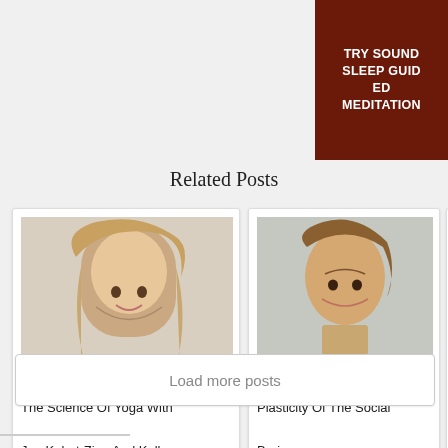TRY SOUND SLEEP GUIDED MEDITATION
Related Posts
[Figure (photo): Woman with blonde hair, arms crossed, smiling, light background]
The Science Of Yoga With Jon Kabat-Zinn And Kelly McGonigal
[Figure (photo): Woman with brown hair, speaking, looking forward, light background]
Plasticity Of The Social Brain
[Figure (photo): Person in red jacket on rocky terrain, partial view]
The G
Load more posts